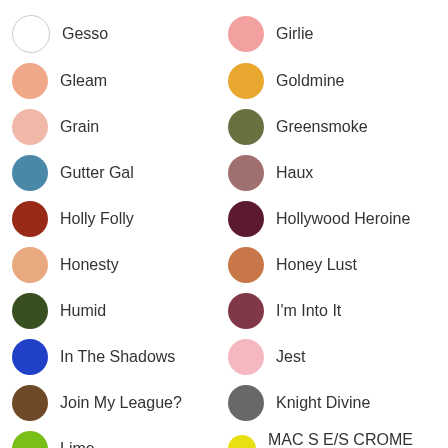Gesso
Girlie
Gleam
Goldmine
Grain
Greensmoke
Gutter Gal
Haux
Holly Folly
Hollywood Heroine
Honesty
Honey Lust
Humid
I'm Into It
In The Shadows
Jest
Join My League?
Knight Divine
Lime
MAC S E/S CROME YELLOW MSOL